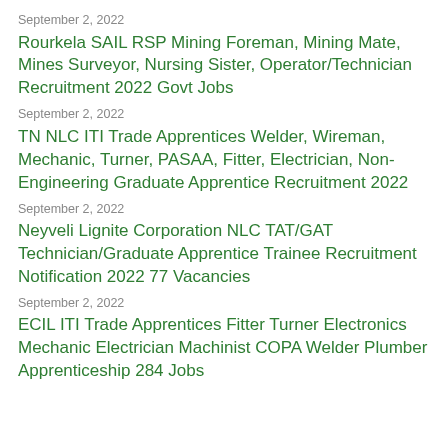September 2, 2022
Rourkela SAIL RSP Mining Foreman, Mining Mate, Mines Surveyor, Nursing Sister, Operator/Technician Recruitment 2022 Govt Jobs
September 2, 2022
TN NLC ITI Trade Apprentices Welder, Wireman, Mechanic, Turner, PASAA, Fitter, Electrician, Non-Engineering Graduate Apprentice Recruitment 2022
September 2, 2022
Neyveli Lignite Corporation NLC TAT/GAT Technician/Graduate Apprentice Trainee Recruitment Notification 2022 77 Vacancies
September 2, 2022
ECIL ITI Trade Apprentices Fitter Turner Electronics Mechanic Electrician Machinist COPA Welder Plumber Apprenticeship 284 Jobs